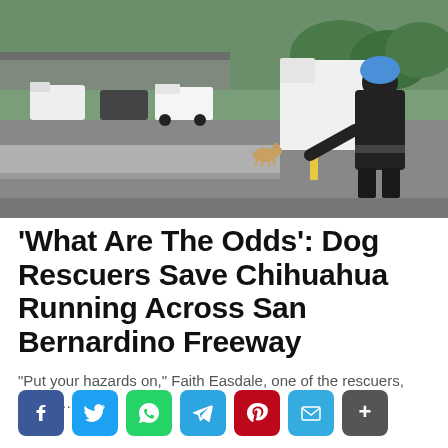[Figure (photo): A highway scene showing a small Chihuahua dog on the road near a concrete barrier, with a police officer or rescuer in dark uniform bending down reaching toward the dog. Several vehicles including trucks and cars are visible in the background on a freeway.]
'What Are The Odds': Dog Rescuers Save Chihuahua Running Across San Bernardino Freeway
“Put your hazards on,” Faith Easdale, one of the rescuers, said in…
[Figure (infographic): Social sharing buttons row: Facebook (blue), Twitter (light blue), WhatsApp (green), Telegram (blue), Pinterest (red), Email (blue), Share/More (dark gray)]